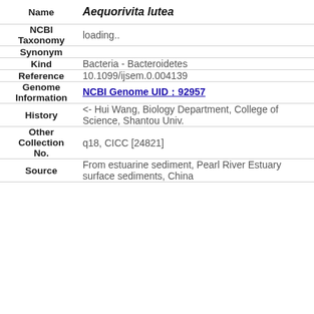| Field | Value |
| --- | --- |
| Name | Aequorivita lutea |
| NCBI Taxonomy | loading.. |
| Synonym |  |
| Kind | Bacteria - Bacteroidetes |
| Reference | 10.1099/ijsem.0.004139 |
| Genome Information | NCBI Genome UID：92957 |
| History | <- Hui Wang, Biology Department, College of Science, Shantou Univ. |
| Other Collection No. | q18, CICC [24821] |
| Source | From estuarine sediment, Pearl River Estuary surface sediments, China |